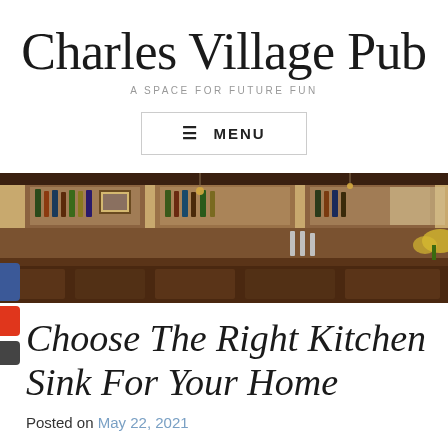Charles Village Pub
A SPACE FOR FUTURE FUN
≡ MENU
[Figure (photo): Interior of a pub bar with dark wood paneling, bottles on shelves, mirrors, bar taps, and flowers on the counter.]
Choose The Right Kitchen Sink For Your Home
Posted on May 22, 2021